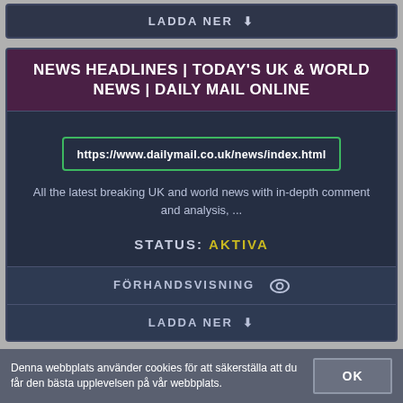[Figure (screenshot): Top download button bar with 'LADDA NER' text and download icon on dark blue background]
NEWS HEADLINES | TODAY'S UK & WORLD NEWS | DAILY MAIL ONLINE
https://www.dailymail.co.uk/news/index.html
All the latest breaking UK and world news with in-depth comment and analysis, ...
STATUS: AKTIVA
FÖRHANDSVISNING
LADDA NER
Denna webbplats använder cookies för att säkerställa att du får den bästa upplevelsen på vår webbplats.